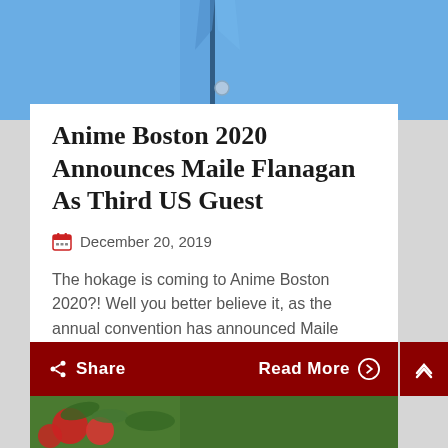[Figure (photo): Partial view of a person wearing a blue shirt, showing the chest/torso area with a button visible]
Anime Boston 2020 Announces Maile Flanagan As Third US Guest
December 20, 2019
The hokage is coming to Anime Boston 2020?! Well you better believe it, as the annual convention has announced Maile Flanagan as their third North American guest! Maile Flanagan has voiced Naruto Uzumaki in the hit anime series Naruto, Naruto Shippuden, and Boruto:...
Share
Read More
[Figure (photo): Bottom strip showing a partial view of tomatoes and green vegetables/produce]